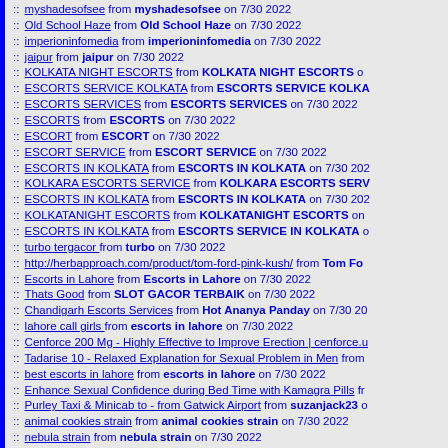:: myshadesofsee from myshadesofsee on 7/30 2022
:: Old School Haze from Old School Haze on 7/30 2022
:: imperioninfomedia from imperioninfomedia on 7/30 2022
:: jaipur from jaipur on 7/30 2022
:: KOLKATA NIGHT ESCORTS from KOLKATA NIGHT ESCORTS o
:: ESCORTS SERVICE KOLKATA from ESCORTS SERVICE KOLKA
:: ESCORTS SERVICES from ESCORTS SERVICES on 7/30 2022
:: ESCORTS from ESCORTS on 7/30 2022
:: ESCORT from ESCORT on 7/30 2022
:: ESCORT SERVICE from ESCORT SERVICE on 7/30 2022
:: ESCORTS IN KOLKATA from ESCORTS IN KOLKATA on 7/30 202
:: KOLKARA ESCORTS SERVICE from KOLKARA ESCORTS SERV
:: ESCORTS IN KOLKATA from ESCORTS IN KOLKATA on 7/30 202
:: KOLKATANIGHT ESCORTS from KOLKATANIGHT ESCORTS on
:: ESCORTS IN KOLKATA from ESCORTS SERVICE IN KOLKATA o
:: turbo tergacor from turbo on 7/30 2022
:: http://herbapproach.com/product/tom-ford-pink-kush/ from Tom Fo
:: Escorts in Lahore from Escorts in Lahore on 7/30 2022
:: Thats Good from SLOT GACOR TERBAIK on 7/30 2022
:: Chandigarh Escorts Services from Hot Ananya Panday on 7/30 20
:: lahore call girls from escorts in lahore on 7/30 2022
:: Cenforce 200 Mg - Highly Effective to Improve Erection | cenforce.u
:: Tadarise 10 - Relaxed Explanation for Sexual Problem in Men from
:: best escorts in lahore from escorts in lahore on 7/30 2022
:: Enhance Sexual Confidence during Bed Time with Kamagra Pills fr
::  Purley Taxi & Minicab to - from Gatwick Airport from suzanjack23 o
:: animal cookies strain from animal cookies strain on 7/30 2022
:: nebula strain from nebula strain on 7/30 2022
:: Disney Plus from Patrika Jones on 7/29 2022
:: Escorts in Udaipur from Classy Babes on 7/29 2022
:: ESCORTS from ESCORTS on 7/29 2022